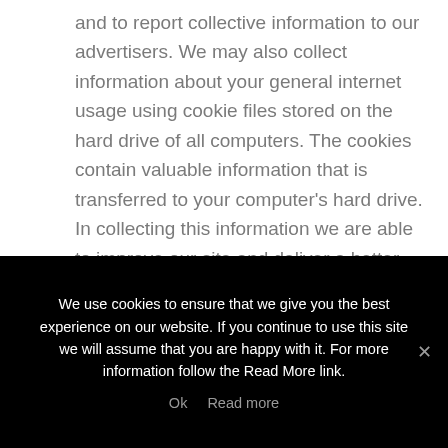and to report collective information to our advertisers. We may also collect information about your general internet usage using cookie files stored on the hard drive of all computers. The cookies contain valuable information that is transferred to your computer's hard drive. In collecting this information we are able to improve our site and deliver a better and more personalised service. You can refuse to accept cookies but note that in doing this you may be unable to access certain parts of our site. You can do this by activating the setting on your browser
We use cookies to ensure that we give you the best experience on our website. If you continue to use this site we will assume that you are happy with it. For more information follow the Read More link.
Ok   Read more